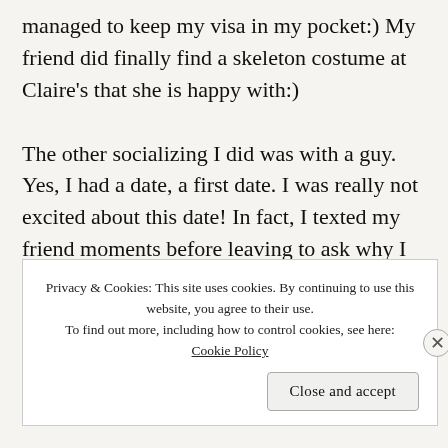managed to keep my visa in my pocket:) My friend did finally find a skeleton costume at Claire's that she is happy with:)
The other socializing I did was with a guy. Yes, I had a date, a first date. I was really not excited about this date! In fact, I texted my friend moments before leaving to ask why I let myself be talked into these things???? It actually went well. We met at the local park and just strolled around. Thankfully we didn't
Privacy & Cookies: This site uses cookies. By continuing to use this website, you agree to their use.
To find out more, including how to control cookies, see here:
Cookie Policy
Close and accept